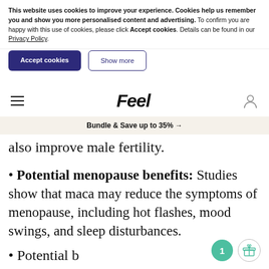This website uses cookies to improve your experience. Cookies help us remember you and show you more personalised content and advertising. To confirm you are happy with this use of cookies, please click Accept cookies. Details can be found in our Privacy Policy.
Accept cookies | Show more
Feel
Bundle & Save up to 35% →
also improve male fertility.
Potential menopause benefits: Studies show that maca may reduce the symptoms of menopause, including hot flashes, mood swings, and sleep disturbances.
• Potential bonus...